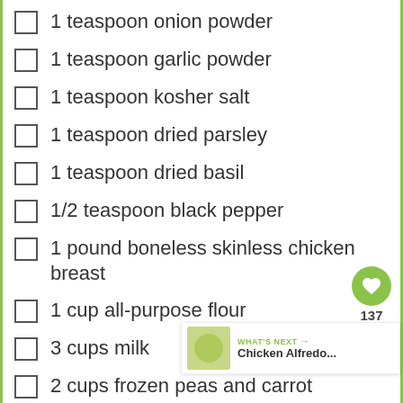1 teaspoon onion powder
1 teaspoon garlic powder
1 teaspoon kosher salt
1 teaspoon dried parsley
1 teaspoon dried basil
1/2 teaspoon black pepper
1 pound boneless skinless chicken breast
1 cup all-purpose flour
3 cups milk
2 cups frozen peas and carrot
Dumplings